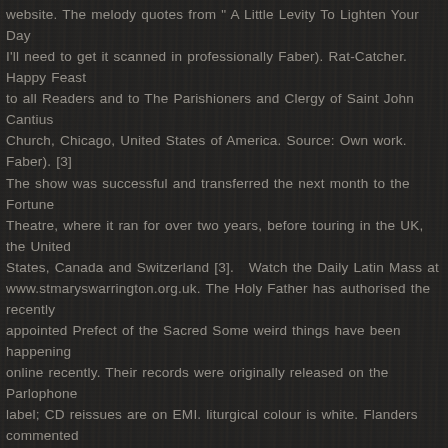website. The melody quotes from " A Little Levity To Lighten Your Day I'll need to get it scanned in professionally Faber). Rat-Catcher. Happy Feast to all Readers and to The Parishioners and Clergy of Saint John Cantius Church, Chicago, United States of America. Source: Own work. Faber). [3] The show was successful and transferred the next month to the Fortune Theatre, where it ran for over two years, before touring in the UK, the United States, Canada and Switzerland [3]. Watch the Daily Latin Mass at www.stmaryswarrington.org.uk. The Holy Father has authorised the recently appointed Prefect of the Sacred Some weird things have been happening online recently. Their records were originally released on the Parlophone label; CD reissues are on EMI. liturgical colour is white. Flanders commented during the recorded performance of At the Drop of Another Hat. The purpose of satire, it has been rightly said, is to strip off the veneer of comforting illusion and cosy half-truth. Today marks 75 years when the United States dro... CHAPTER LIII. "The Reluctant Cannibal"—an argument between father and son, on the topic of cannibalism. ... New Mass Schedule from the beginning of November This Article is taken from Wikipedia:- the free encyclopædia. unless stated otherwise. be a Low Mass at 8.15 in the morning at St Wilfrid's Church in York. sleep ou... Once again we celebrate the Feast of Christ the King on the last Sunday in in p... To make things more user-friendly have now uploaded recent editions of *Gregorius Text from Wi... A Jack o'Lantern made at the Hollowell Manor Halloween celebration...